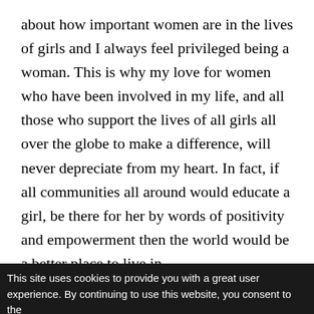about how important women are in the lives of girls and I always feel privileged being a woman. This is why my love for women who have been involved in my life, and all those who support the lives of all girls all over the globe to make a difference, will never depreciate from my heart. In fact, if all communities all around would educate a girl, be there for her by words of positivity and empowerment then the world would be a better place to live in.
Tagged in:
This site uses cookies to provide you with a great user experience. By continuing to use this website, you consent to the